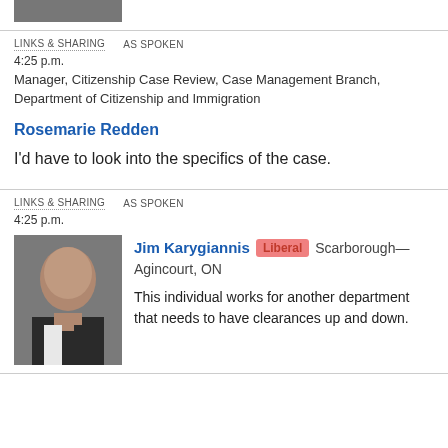[Figure (photo): Partial photo of a person in a suit, only lower face/collar visible at top of page]
LINKS & SHARING    AS SPOKEN
4:25 p.m.
Manager, Citizenship Case Review, Case Management Branch, Department of Citizenship and Immigration
Rosemarie Redden
I'd have to look into the specifics of the case.
LINKS & SHARING    AS SPOKEN
4:25 p.m.
[Figure (photo): Headshot of Jim Karygiannis, a middle-aged man in a dark suit with a light shirt and tie]
Jim Karygiannis  Liberal  Scarborough—Agincourt, ON
This individual works for another department that needs to have clearances up and down.